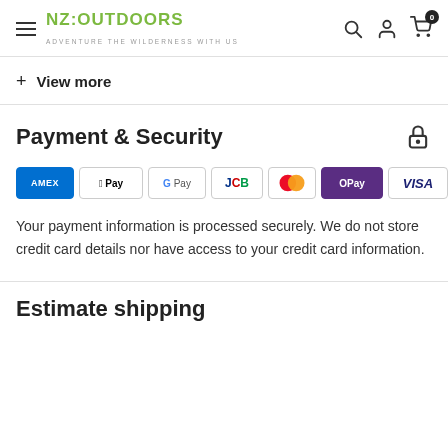NZ:OUTDOORS — ADVENTURE THE WILDERNESS WITH US
+ View more
Payment & Security
[Figure (logo): Payment method badges: Amex, Apple Pay, Google Pay, JCB, Mastercard, OPay, Visa]
Your payment information is processed securely. We do not store credit card details nor have access to your credit card information.
Estimate shipping